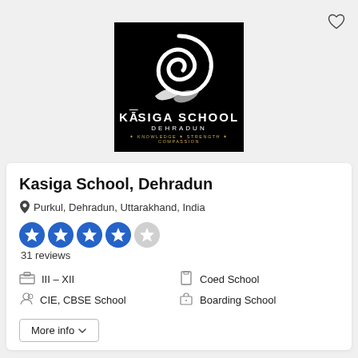[Figure (logo): Kasiga School Dehradun logo: black square background with white spiral/swirl design, text KASIGA SCHOOL DEHRADUN and tagline KNOWLEDGE STRENGTH COMPASSION]
Kasiga School, Dehradun
Purkul, Dehradun, Uttarakhand, India
31 reviews
III – XII
CIE, CBSE School
Coed School
Boarding School
More info